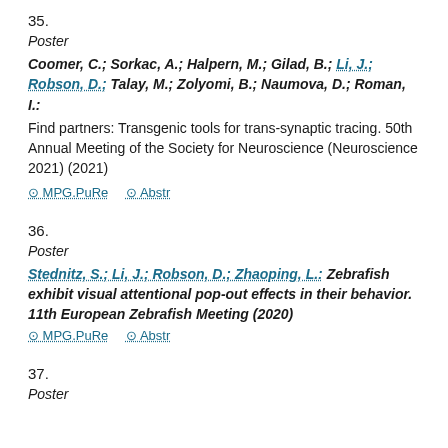35.
Poster
Coomer, C.; Sorkac, A.; Halpern, M.; Gilad, B.; Li, J.; Robson, D.; Talay, M.; Zolyomi, B.; Naumova, D.; Roman, I.: Find partners: Transgenic tools for trans-synaptic tracing. 50th Annual Meeting of the Society for Neuroscience (Neuroscience 2021) (2021)
⊘ MPG.PuRe   ⊘ Abstr
36.
Poster
Stednitz, S.; Li, J.; Robson, D.; Zhaoping, L.: Zebrafish exhibit visual attentional pop-out effects in their behavior. 11th European Zebrafish Meeting (2020)
⊘ MPG.PuRe   ⊘ Abstr
37.
Poster